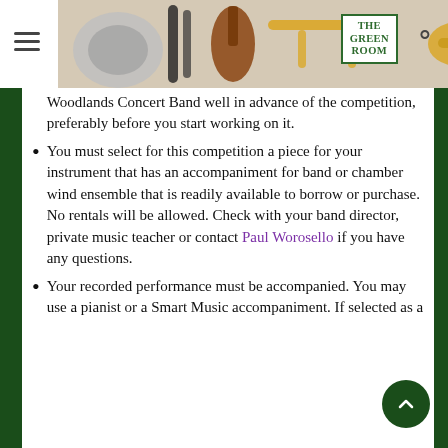The Green Room — navigation header with musical instruments image
Woodlands Concert Band well in advance of the competition, preferably before you start working on it.
You must select for this competition a piece for your instrument that has an accompaniment for band or chamber wind ensemble that is readily available to borrow or purchase. No rentals will be allowed. Check with your band director, private music teacher or contact Paul Worosello if you have any questions.
Your recorded performance must be accompanied. You may use a pianist or a Smart Music accompaniment. If selected as a